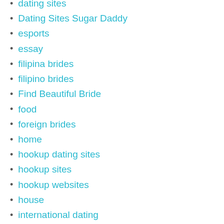dating sites
Dating Sites Sugar Daddy
esports
essay
filipina brides
filipino brides
Find Beautiful Bride
food
foreign brides
home
hookup dating sites
hookup sites
hookup websites
house
international dating
japanese brides
japanese mail order brides
korean women seeking marriage american men
latin brides
latina brides
legit mail order bride
mail order bride
mail order brides